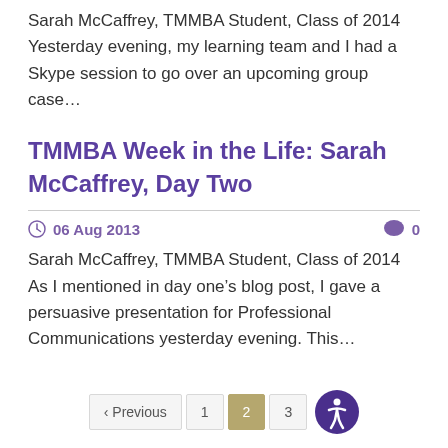Sarah McCaffrey, TMMBA Student, Class of 2014 Yesterday evening, my learning team and I had a Skype session to go over an upcoming group case…
TMMBA Week in the Life: Sarah McCaffrey, Day Two
06 Aug 2013   0
Sarah McCaffrey, TMMBA Student, Class of 2014 As I mentioned in day one's blog post, I gave a persuasive presentation for Professional Communications yesterday evening. This…
‹ Previous   1   2   3